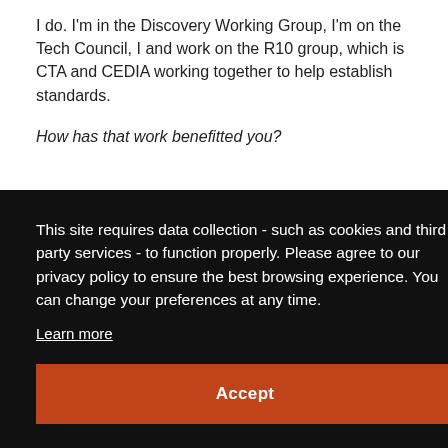I do. I'm in the Discovery Working Group, I'm on the Tech Council, I and work on the R10 group, which is CTA and CEDIA working together to help establish standards.
How has that work benefitted you?
This site requires data collection - such as cookies and third party services - to function properly. Please agree to our privacy policy to ensure the best browsing experience. You can change your preferences at any time.
Learn more
Accept